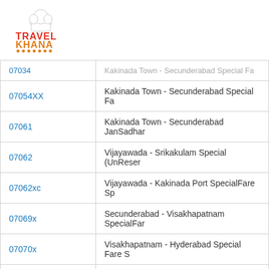[Figure (logo): TravelKhana logo with chef hat icon, red and orange text]
| Train No. | Train Name |
| --- | --- |
| 07034 | Kakinada Town - Secunderabad Special Fa... |
| 07054XX | Kakinada Town - Secunderabad Special Fa... |
| 07061 | Kakinada Town - Secunderabad JanSadhar... |
| 07062 | Vijayawada - Srikakulam Special (UnReser... |
| 07062xc | Vijayawada - Kakinada Port SpecialFare Sp... |
| 07069x | Secunderabad - Visakhapatnam SpecialFar... |
| 07070x | Visakhapatnam - Hyderabad Special Fare S... |
| 07071 | Srikakulam Road - Secunderabad Sankrant... |
| 07071X | Hyderabad - Visakhapatnam SpecialFare S... |
| 07072 | Secunderabad - Srikakulam Road Sankrant... |